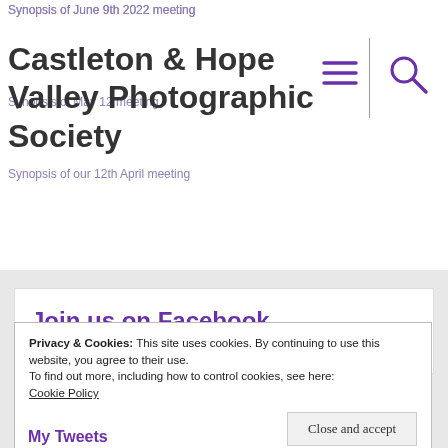Synopsis of June 9th 2022 meeting
Synopsis of May 12 meeting
Synopsis of our 12th April meeting
Castleton & Hope Valley Photographic Society
Join us on Facebook
Privacy & Cookies: This site uses cookies. By continuing to use this website, you agree to their use.
To find out more, including how to control cookies, see here:
Cookie Policy
Close and accept
My Tweets